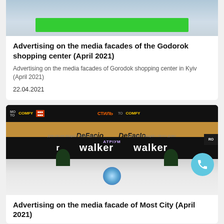[Figure (photo): Top portion of a building facade with a green advertising sign/banner visible against glass windows]
Advertising on the media facades of the Godorok shopping center (April 2021)
Advertising on the media facades of Gorodok shopping center in Kyiv (April 2021)
22.04.2021
[Figure (photo): Interior of Most City shopping mall showing walker brand advertisements on large LED media facades, with DeFacio store signs, fountain in center, and decorative plants]
Advertising on the media facade of Most City (April 2021)